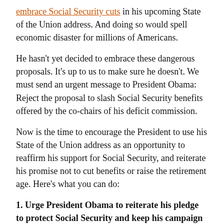embrace Social Security cuts in his upcoming State of the Union address. And doing so would spell economic disaster for millions of Americans.
He hasn't yet decided to embrace these dangerous proposals. It's up to us to make sure he doesn't. We must send an urgent message to President Obama: Reject the proposal to slash Social Security benefits offered by the co-chairs of his deficit commission.
Now is the time to encourage the President to use his State of the Union address as an opportunity to reaffirm his support for Social Security, and reiterate his promise not to cut benefits or raise the retirement age. Here's what you can do:
1. Urge President Obama to reiterate his pledge to protect Social Security and keep his campaign promise not to cut benefits or raise the retirement age in his State of the Union address. (See key points/facts below.)